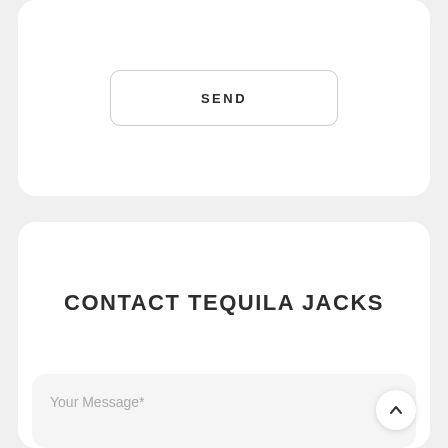SEND
CONTACT TEQUILA JACKS
Your Message*